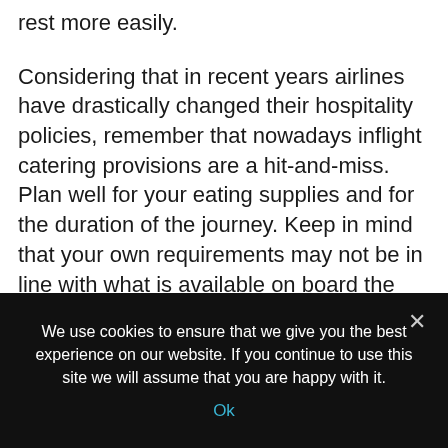rest more easily.
Considering that in recent years airlines have drastically changed their hospitality policies, remember that nowadays inflight catering provisions are a hit-and-miss. Plan well for your eating supplies and for the duration of the journey. Keep in mind that your own requirements may not be in line with what is available on board the aircraft. It could be useful to have in your cabin baggage small quantities of snacks, fruits and drinking water. To continue on the subject of food and drink,
We use cookies to ensure that we give you the best experience on our website. If you continue to use this site we will assume that you are happy with it.
Ok